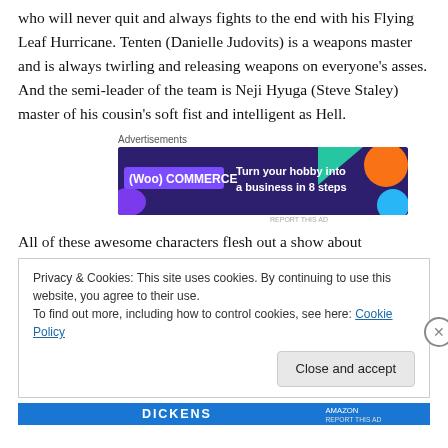who will never quit and always fights to the end with his Flying Leaf Hurricane. Tenten (Danielle Judovits) is a weapons master and is always twirling and releasing weapons on everyone’s asses. And the semi-leader of the team is Neji Hyuga (Steve Staley) master of his cousin’s soft fist and intelligent as Hell.
Advertisements
[Figure (other): WooCommerce advertisement banner: dark purple background with colorful geometric shapes, WooCommerce logo, text 'Turn your hobby into a business in 8 steps']
All of these awesome characters flesh out a show about
Privacy & Cookies: This site uses cookies. By continuing to use this website, you agree to their use.
To find out more, including how to control cookies, see here: Cookie Policy
[Figure (other): Bottom advertisement banner in blue]